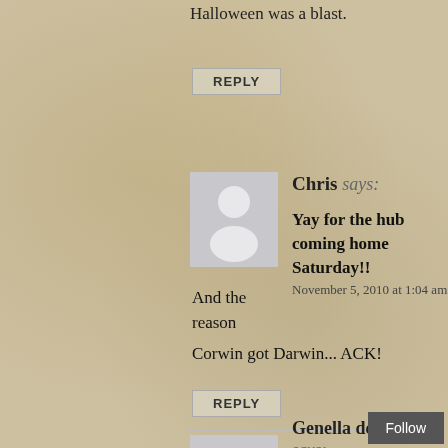Halloween was a blast.
REPLY
Chris says:
Yay for the hub coming home Saturday!!
November 5, 2010 at 1:04 am
And the reason Corwin got Darwin... ACK!
REPLY
Genella deGrey says: